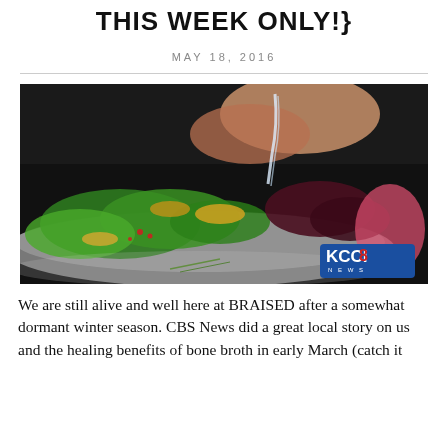THIS WEEK ONLY!}
MAY 18, 2016
[Figure (photo): A chef pours liquid from a squeeze bottle onto a colorful salad bowl with greens, mushrooms, beets, and radishes. KCCI 8 News logo visible in bottom right corner.]
We are still alive and well here at BRAISED after a somewhat dormant winter season. CBS News did a great local story on us and the healing benefits of bone broth in early March (catch it